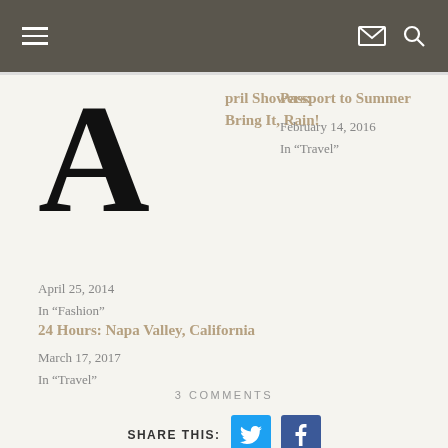Navigation bar with hamburger menu, email and search icons
[Figure (illustration): Large drop-cap letter A in bold serif font]
April 25, 2014
In “Fashion”
pril Showers: Bring It, Rain!
April 25, 2014
In “Fashion”
Passport to Summer
February 14, 2016
In “Travel”
24 Hours: Napa Valley, California
March 17, 2017
In “Travel”
3 COMMENTS
SHARE THIS: